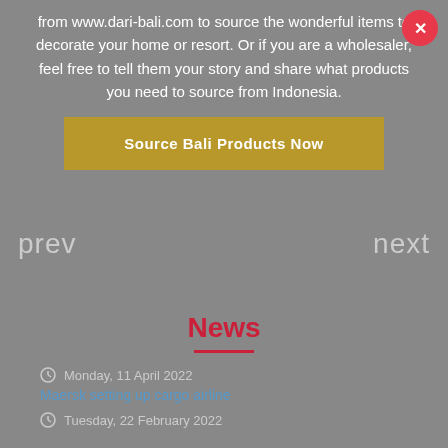from www.dari-bali.com to source the wonderful items to decorate your home or resort. Or if you are a wholesaler, feel free to tell them your story and share what products you need to source from Indonesia.
Source Bali Products Now
prev
next
News
Monday, 11 April 2022
Maersk setting up cargo airline
Tuesday, 22 February 2022